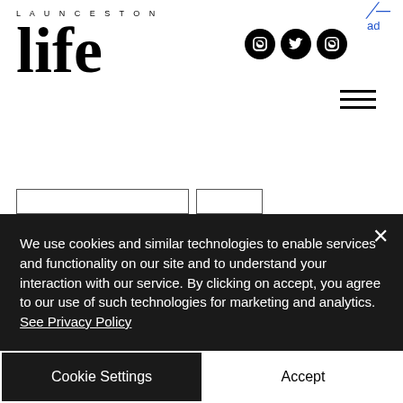LAUNCESTON life
charles causley
cornish
Cornwall
history
launcestonlife
Launceston
local news
literature
We use cookies and similar technologies to enable services and functionality on our site and to understand your interaction with our service. By clicking on accept, you agree to our use of such technologies for marketing and analytics. See Privacy Policy